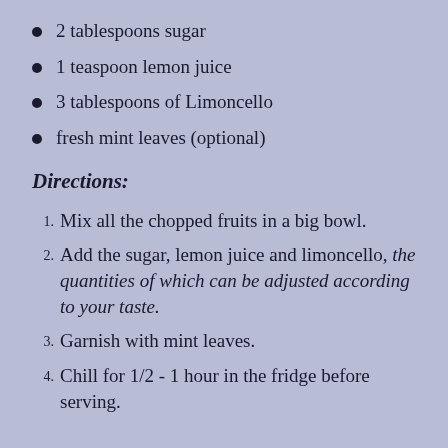2 tablespoons sugar
1 teaspoon lemon juice
3 tablespoons of Limoncello
fresh mint leaves (optional)
Directions:
Mix all the chopped fruits in a big bowl.
Add the sugar, lemon juice and limoncello, the quantities of which can be adjusted according to your taste.
Garnish with mint leaves.
Chill for 1/2 - 1 hour in the fridge before serving.